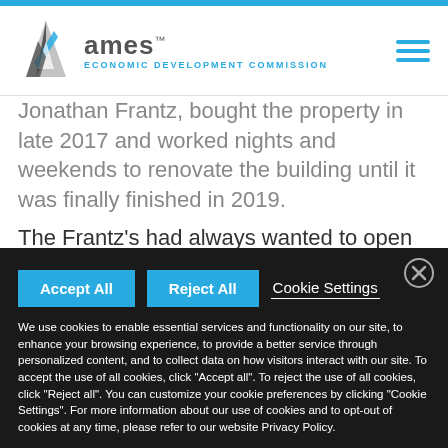[Figure (logo): Ames Economic Development Commission logo with triangular A icon in gray and cyan, with text 'Ames ECONOMIC DEVELOPMENT COMMISSION']
Jonathan Frantz, bought the property in late 2017 and worked nights and weekends to renovate the building until it was finally finished in 2019.
The Frantz's had always wanted to open a brewery and when they moved to Iowa in 2013,
We use cookies to enable essential services and functionality on our site, to enhance your browsing experience, to provide a better service through personalized content, and to collect data on how visitors interact with our site. To accept the use of all cookies, click "Accept all". To reject the use of all cookies, click "Reject all". You can customize your cookie preferences by clicking "Cookie Settings". For more information about our use of cookies and to opt-out of cookies at any time, please refer to our website Privacy Policy.